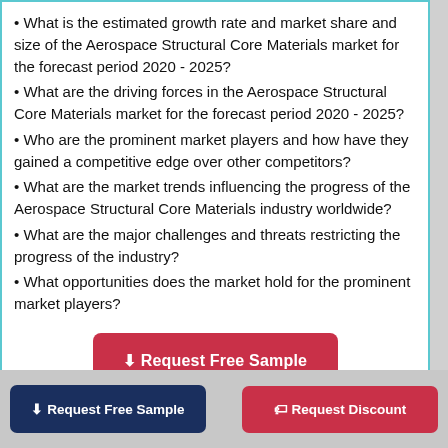• What is the estimated growth rate and market share and size of the Aerospace Structural Core Materials market for the forecast period 2020 - 2025?
• What are the driving forces in the Aerospace Structural Core Materials market for the forecast period 2020 - 2025?
• Who are the prominent market players and how have they gained a competitive edge over other competitors?
• What are the market trends influencing the progress of the Aerospace Structural Core Materials industry worldwide?
• What are the major challenges and threats restricting the progress of the industry?
• What opportunities does the market hold for the prominent market players?
⬇ Request Free Sample
⬇ Request Free Sample | 🏷 Request Discount